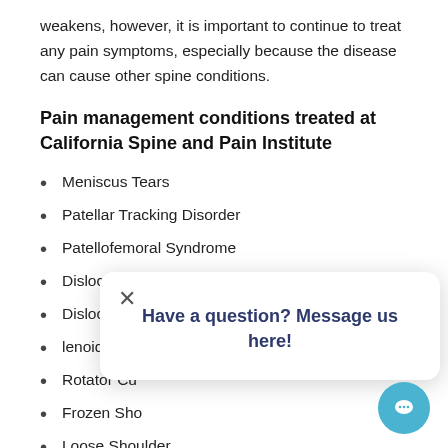weakens, however, it is important to continue to treat any pain symptoms, especially because the disease can cause other spine conditions.
Pain management conditions treated at California Spine and Pain Institute
Meniscus Tears
Patellar Tracking Disorder
Patellofemoral Syndrome
Dislocated Knee
Dislocated [partially obscured]
lenoid Lab[partially obscured]
Rotator Cu[partially obscured]
Frozen Sho[partially obscured]
Loose Shoulder
Shoulder Impingement
SLAP Tear